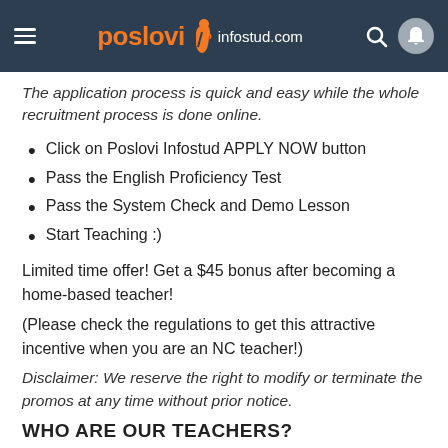poslovi infostud.com
The application process is quick and easy while the whole recruitment process is done online.
Click on Poslovi Infostud APPLY NOW button
Pass the English Proficiency Test
Pass the System Check and Demo Lesson
Start Teaching :)
Limited time offer! Get a $45 bonus after becoming a home-based teacher!
(Please check the regulations to get this attractive incentive when you are an NC teacher!)
Disclaimer: We reserve the right to modify or terminate the promos at any time without prior notice.
WHO ARE OUR TEACHERS?